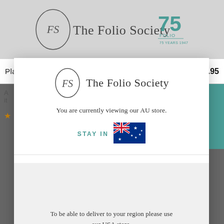[Figure (screenshot): The Folio Society website header with logo and 75th anniversary badge]
Planet of the Apes
$84.95
[Figure (logo): The Folio Society logo with circular FS monogram and text]
You are currently viewing our AU store.
STAY IN
[Figure (illustration): Australian flag emoji]
To be able to deliver to your region please use our USA store.
[Figure (illustration): US flag emoji]
VISIT NOW
ACCEPT ALL